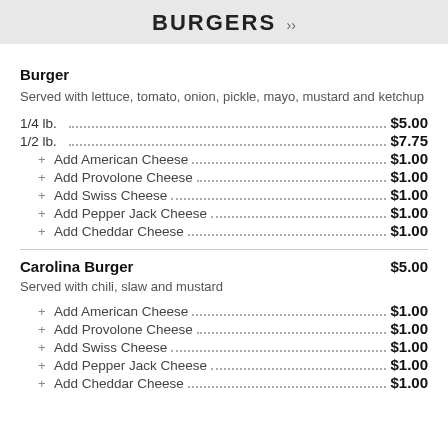BURGERS
Burger
Served with lettuce, tomato, onion, pickle, mayo, mustard and ketchup
1/4 lb. ... $5.00
1/2 lb. ... $7.75
+ Add American Cheese ... $1.00
+ Add Provolone Cheese ... $1.00
+ Add Swiss Cheese ... $1.00
+ Add Pepper Jack Cheese ... $1.00
+ Add Cheddar Cheese ... $1.00
Carolina Burger $5.00
Served with chili, slaw and mustard
+ Add American Cheese ... $1.00
+ Add Provolone Cheese ... $1.00
+ Add Swiss Cheese ... $1.00
+ Add Pepper Jack Cheese ... $1.00
+ Add Cheddar Cheese ... $1.00